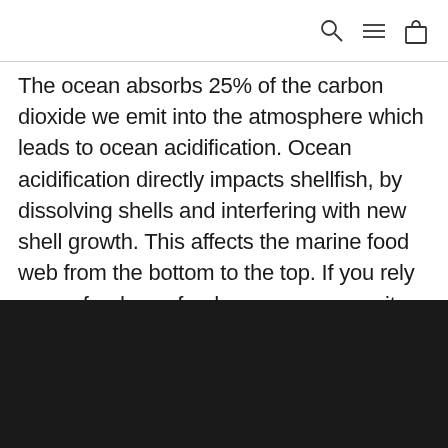[search icon] [menu icon] [bag icon]
The ocean absorbs 25% of the carbon dioxide we emit into the atmosphere which leads to ocean acidification. Ocean acidification directly impacts shellfish, by dissolving shells and interfering with new shell growth. This affects the marine food web from the bottom to the top. If you rely on seafood as a food source, or serve it on your menu, ocean acidification impacts you as well.